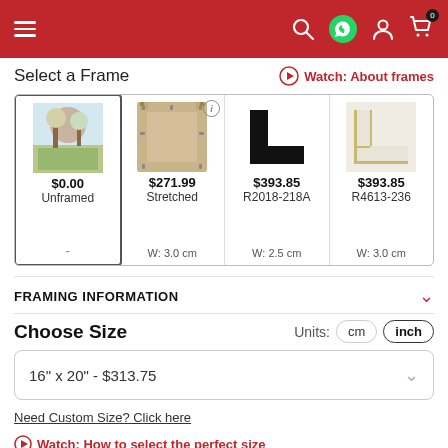Navigation bar with hamburger menu, search, WhatsApp, account, and cart (0) icons
Select a Frame
Watch: About frames
| Unframed | Stretched | R2018-218A | R4613-236 |
| --- | --- | --- | --- |
| $0.00 Unframed - | $271.99 Stretched W: 3.0 cm | $393.85 R2018-218A W: 2.5 cm | $393.85 R4613-236 W: 3.0 cm |
FRAMING INFORMATION
Choose Size
Units: cm  inch
16" x 20" - $313.75
Need Custom Size? Click here
Watch: How to select the perfect size